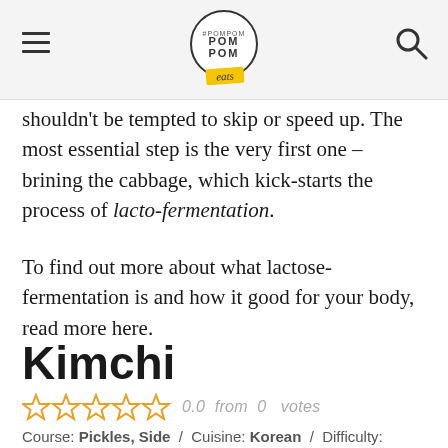POMPOM eats (logo)
shouldn't be tempted to skip or speed up. The most essential step is the very first one – brining the cabbage, which kick-starts the process of lacto-fermentation.
To find out more about what lactose-fermentation is and how it good for your body, read more here.
Kimchi
0.0  from  0  votes (5 empty stars)
Course: Pickles, Side  /  Cuisine: Korean  /  Difficulty: